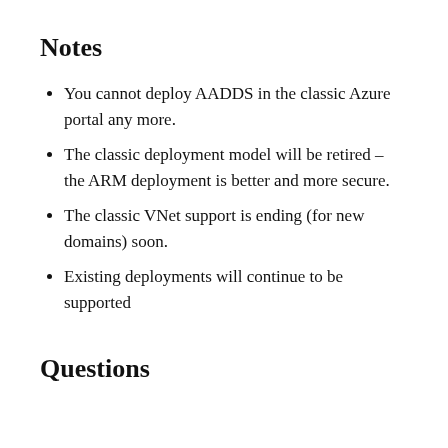Notes
You cannot deploy AADDS in the classic Azure portal any more.
The classic deployment model will be retired – the ARM deployment is better and more secure.
The classic VNet support is ending (for new domains) soon.
Existing deployments will continue to be supported
Questions